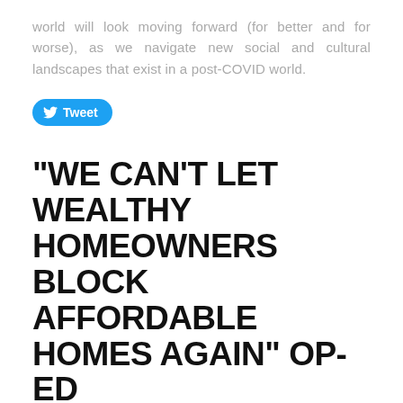world will look moving forward (for better and for worse), as we navigate new social and cultural landscapes that exist in a post-COVID world.
[Figure (other): Twitter Tweet button with bird logo]
"WE CAN'T LET WEALTHY HOMEOWNERS BLOCK AFFORDABLE HOMES AGAIN" OP-ED
12/7/2020    Comments
Last September I made a small contribution to an op-ed co-authored with Laura Track and